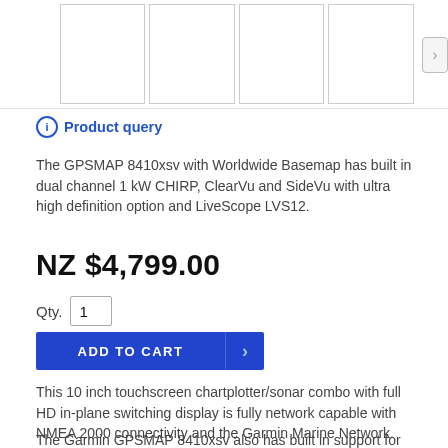[Figure (screenshot): Thumbnail image strip with navigation arrow for product images]
Product query
The GPSMAP 8410xsv with Worldwide Basemap has built in dual channel 1 kW CHIRP, ClearVu and SideVu with ultra high definition option and LiveScope LVS12.
NZ $4,799.00
Qty. 1
ADD TO CART
This 10 inch touchscreen chartplotter/sonar combo with full HD in-plane switching display is fully network capable with NMEA 2000 connectivity and the Garmin Marine Network.
The Garmin GPSMAP 8410xsv also has built in support for the full suite of Garmin sonar capabilities, plus ANT technology